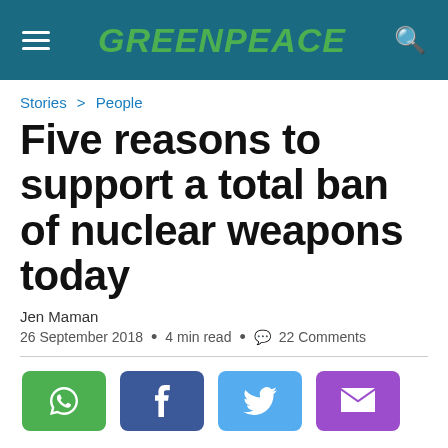GREENPEACE
Stories > People
Five reasons to support a total ban of nuclear weapons today
Jen Maman
26 September 2018  •  4 min read  •  22 Comments
[Figure (other): Social share buttons: WhatsApp (green), Facebook (blue), Twitter (light blue), Email (purple)]